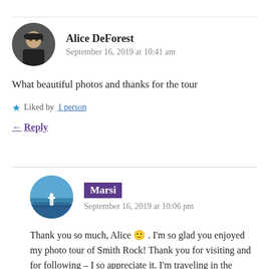Alice DeForest
September 16, 2019 at 10:41 am
What beautiful photos and thanks for the tour
Liked by 1 person
Reply
Marsi
September 16, 2019 at 10:06 pm
Thank you so much, Alice 🙂 . I'm so glad you enjoyed my photo tour of Smith Rock! Thank you for visiting and for following – I so appreciate it. I'm traveling in the mountains of New Mexico with